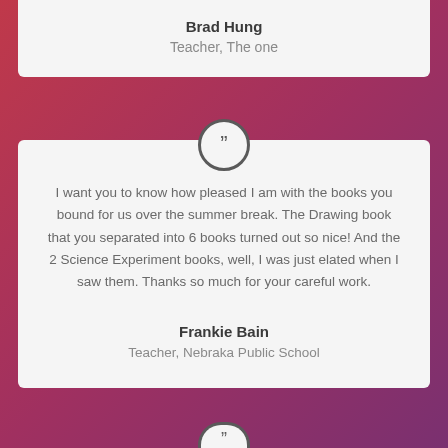Brad Hung
Teacher, The one
I want you to know how pleased I am with the books you bound for us over the summer break. The Drawing book that you separated into 6 books turned out so nice! And the 2 Science Experiment books, well, I was just elated when I saw them. Thanks so much for your careful work.
Frankie Bain
Teacher, Nebraka Public School